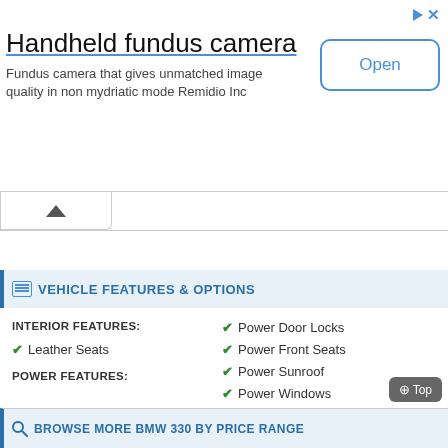[Figure (screenshot): Advertisement banner for Handheld fundus camera by Remidio Inc with an Open button]
Handheld fundus camera
Fundus camera that gives unmatched image quality in non mydriatic mode Remidio Inc
VEHICLE FEATURES & OPTIONS
INTERIOR FEATURES:
Leather Seats
POWER FEATURES:
Power Door Locks
Power Front Seats
Power Sunroof
Power Windows
BROWSE MORE BMW 330 BY PRICE RANGE